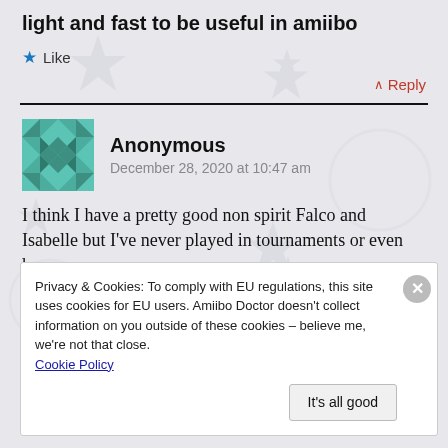light and fast to be useful in amiibo
Like
Reply
Anonymous
December 28, 2020 at 10:47 am
I think I have a pretty good non spirit Falco and Isabelle but I've never played in tournaments or even have a powersave
Privacy & Cookies: To comply with EU regulations, this site uses cookies for EU users. Amiibo Doctor doesn't collect information on you outside of these cookies – believe me, we're not that close. Cookie Policy
It's all good